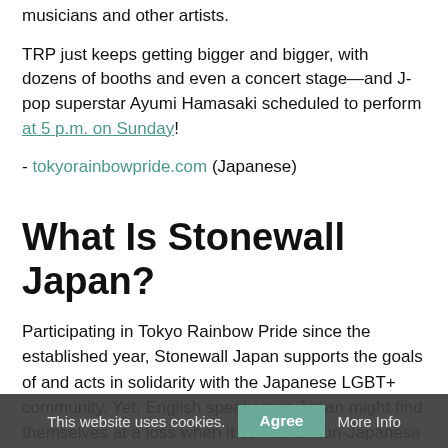musicians and other artists.
TRP just keeps getting bigger and bigger, with dozens of booths and even a concert stage—and J-pop superstar Ayumi Hamasaki scheduled to perform at 5 p.m. on Sunday!
- tokyorainbowpride.com (Japanese)
What Is Stonewall Japan?
Participating in Tokyo Rainbow Pride since the established year, Stonewall Japan supports the goals of and acts in solidarity with the Japanese LGBT+ community. Yet, English speakers in Japan might find themselves at a loss when it comes to non-Japanese resources and events. That's where Stonewall Japan comes in, facilitating queer-friendly events in English for foreign residents. A bit more of the history of the group can be found here.
Stonewall Japan seeks to create a supportive community for international individuals living in Japan who might otherwise be...
This website uses cookies.   Agree   More Info